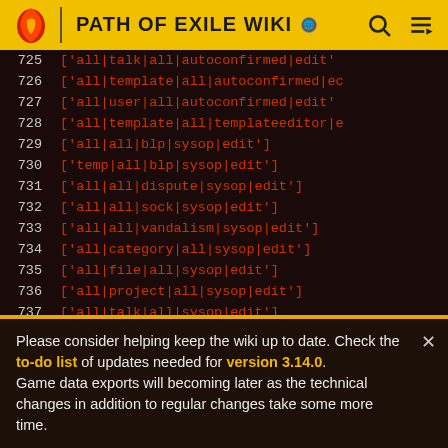PATH OF EXILE WIKI
725 ['all|talk|all|autoconfirmed|edit'
726 ['all|template|all|autoconfirmed|ec
727 ['all|user|all|autoconfirmed|edit'
728 ['all|template|all|templateeditor|e
729 ['all|all|blp|sysop|edit']
730 ['temp|all|blp|sysop|edit']
731 ['all|all|dispute|sysop|edit']
732 ['all|all|sock|sysop|edit']
733 ['all|all|vandalism|sysop|edit']
734 ['all|category|all|sysop|edit']
735 ['all|file|all|sysop|edit']
736 ['all|project|all|sysop|edit']
737 ['all|talk|all|sysop|edit']
738 ['all|template|all|sysop|edit']
739 ['all|user|all|sysop|edit']
Please consider helping keep the wiki up to date. Check the to-do list of updates needed for version 3.14.0.
Game data exports will becoming later as the technical changes in addition to regular changes take some more time.